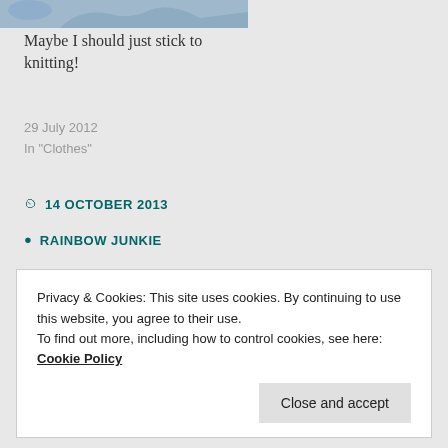[Figure (photo): Partial image at top of page, blue-gray tones]
Maybe I should just stick to knitting!
29 July 2012
In "Clothes"
14 OCTOBER 2013
RAINBOW JUNKIE
CROCHET, TOYS & DECORATION
BLANKET, CAL, CROCHET, DISPLAY TREE, GRANNY RIPPLE, JOINING, SNOWFLAKES
Privacy & Cookies: This site uses cookies. By continuing to use this website, you agree to their use. To find out more, including how to control cookies, see here: Cookie Policy
Close and accept